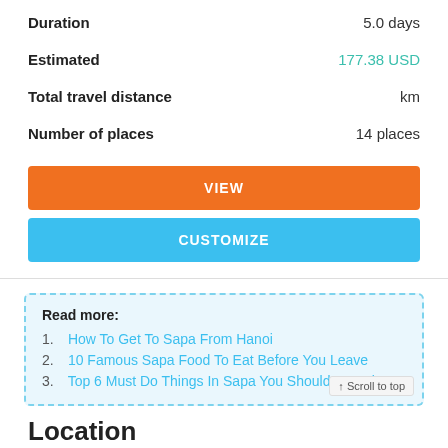| Field | Value |
| --- | --- |
| Duration | 5.0 days |
| Estimated | 177.38 USD |
| Total travel distance | km |
| Number of places | 14 places |
VIEW
CUSTOMIZE
Read more:
How To Get To Sapa From Hanoi
10 Famous Sapa Food To Eat Before You Leave
Top 6 Must Do Things In Sapa You Should Not Miss
↑ Scroll to top
Location